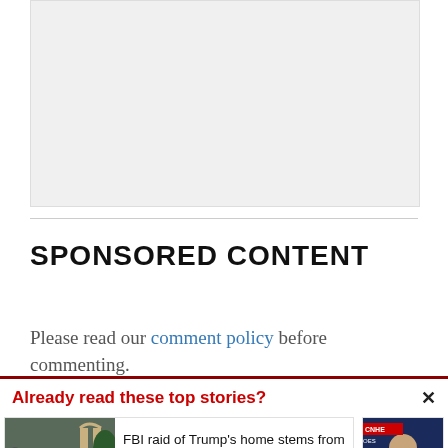[Figure (other): Gray advertisement placeholder box]
SPONSORED CONTENT
Please read our comment policy before commenting.
Already read these top stories?
[Figure (photo): Photo of FBI agents outside Trump's Mar-a-Lago home]
FBI raid of Trump’s home stems from a wary federal record keeper who alerted Justice Department
[Figure (photo): Photo of man at CNN Heroes event]